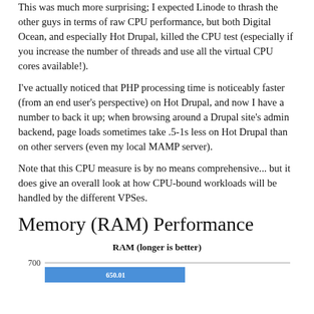This was much more surprising; I expected Linode to thrash the other guys in terms of raw CPU performance, but both Digital Ocean, and especially Hot Drupal, killed the CPU test (especially if you increase the number of threads and use all the virtual CPU cores available!).
I've actually noticed that PHP processing time is noticeably faster (from an end user's perspective) on Hot Drupal, and now I have a number to back it up; when browsing around a Drupal site's admin backend, page loads sometimes take .5-1s less on Hot Drupal than on other servers (even my local MAMP server).
Note that this CPU measure is by no means comprehensive... but it does give an overall look at how CPU-bound workloads will be handled by the different VPSes.
Memory (RAM) Performance
[Figure (bar-chart): Partial bar chart showing RAM benchmark, y-axis at 700, one blue bar visible with partial label ~650.01]